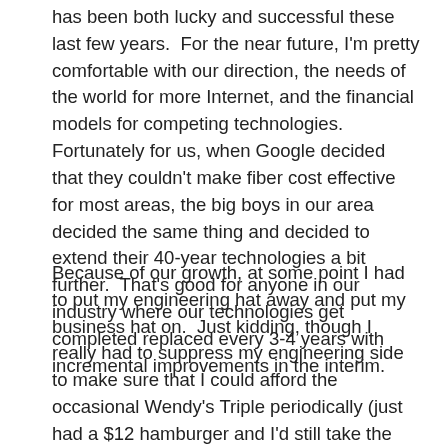has been both lucky and successful these last few years.  For the near future, I'm pretty comfortable with our direction, the needs of the world for more Internet, and the financial models for competing technologies.  Fortunately for us, when Google decided that they couldn't make fiber cost effective for most areas, the big boys in our area decided the same thing and decided to extend their 40-year technologies a bit further.  That's good for anyone in our industry where our technologies get completed replaced every 3-4 years with incremental improvements in the interim.
Because of our growth, at some point I had to put my engineering hat away and put my business hat on.  Just kidding, though I really had to suppress my engineering side to make sure that I could afford the occasional Wendy's Triple periodically (just had a $12 hamburger and I'd still take the Wendy's Triple or Fuddruckers).  The engineering devil (EDev) on my left shoulder drools every time new hardware comes out or I have some epiphany on how to better deploy our infrastructure.  I'm always looking for ways to achieve our next tier goal which